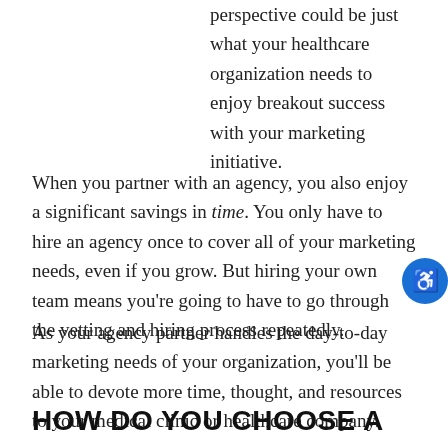perspective could be just what your healthcare organization needs to enjoy breakout success with your marketing initiative.
When you partner with an agency, you also enjoy a significant savings in time. You only have to hire an agency once to cover all of your marketing needs, even if you grow. But hiring your own team means you're going to have to go through the vetting and hiring process repeatedly.
As your agency partner handles the day-to-day marketing needs of your organization, you'll be able to devote more time, thought, and resources to your medical clinic or healthcare company.
HOW DO YOU CHOOSE A